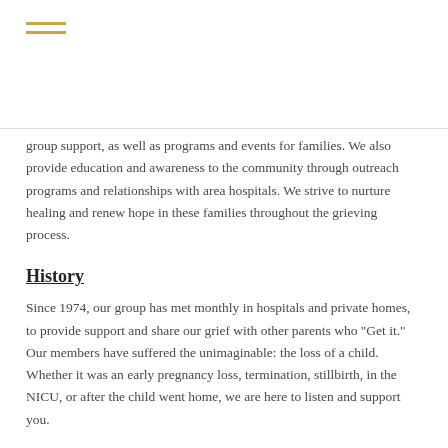[Figure (other): Hamburger menu icon with three horizontal gold/amber lines]
group support, as well as programs and events for families. We also provide education and awareness to the community through outreach programs and relationships with area hospitals. We strive to nurture healing and renew hope in these families throughout the grieving process.
History
Since 1974, our group has met monthly in hospitals and private homes, to provide support and share our grief with other parents who "Get it." Our members have suffered the unimaginable: the loss of a child.   Whether it was an early pregnancy loss, termination, stillbirth, in the NICU, or after the child went home, we are here to listen and support you.
The founders of our group donated the first cameras